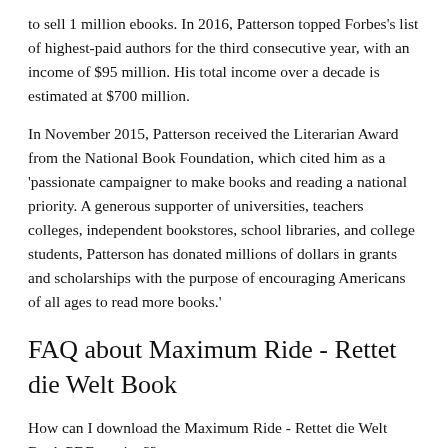to sell 1 million ebooks. In 2016, Patterson topped Forbes's list of highest-paid authors for the third consecutive year, with an income of $95 million. His total income over a decade is estimated at $700 million.
In November 2015, Patterson received the Literarian Award from the National Book Foundation, which cited him as a 'passionate campaigner to make books and reading a national priority. A generous supporter of universities, teachers colleges, independent bookstores, school libraries, and college students, Patterson has donated millions of dollars in grants and scholarships with the purpose of encouraging Americans of all ages to read more books.'
FAQ about Maximum Ride - Rettet die Welt Book
How can I download the Maximum Ride - Rettet die Welt Book PDF version??